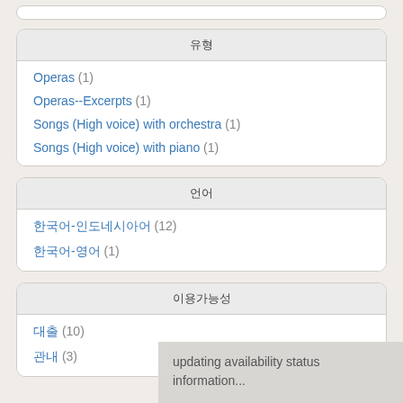유형
Operas (1)
Operas--Excerpts (1)
Songs (High voice) with orchestra (1)
Songs (High voice) with piano (1)
언어
한국어-인도네시아어 (12)
한국어-영어 (1)
이용가능성
대출 (10)
관내 (3)
updating availability status information...